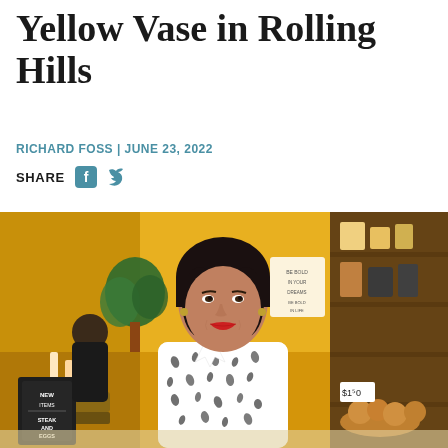Yellow Vase in Rolling Hills
RICHARD FOSS | JUNE 23, 2022
SHARE
[Figure (photo): Woman with dark hair wearing a black and white patterned blouse standing in a yellow-walled cafe/restaurant interior with shelves, chalkboard signs, and pastry displays in the background]